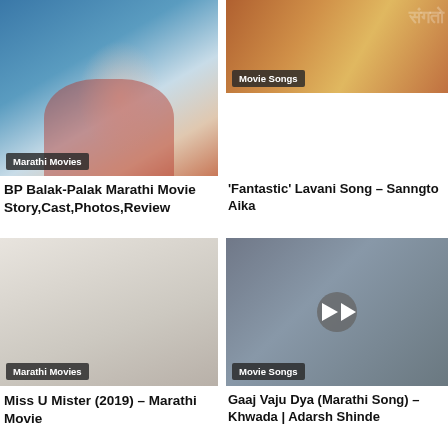[Figure (photo): Movie poster for BP Balak-Palak Marathi Movie showing a woman in red with a headband on a blue background, with a 'Marathi Movies' badge]
BP Balak-Palak Marathi Movie Story,Cast,Photos,Review
[Figure (photo): Movie thumbnail for Fantastic Lavani Song Sanngto Aika showing colorful Marathi movie imagery with a 'Movie Songs' badge]
'Fantastic' Lavani Song – Sanngto Aika
[Figure (photo): Thumbnail for Miss U Mister (2019) Marathi Movie with a 'Marathi Movies' badge]
Miss U Mister (2019) – Marathi Movie
[Figure (photo): Thumbnail for Gaaj Vaju Dya (Marathi Song) – Khwada | Adarsh Shinde with a play button and 'Movie Songs' badge]
Gaaj Vaju Dya (Marathi Song) – Khwada | Adarsh Shinde